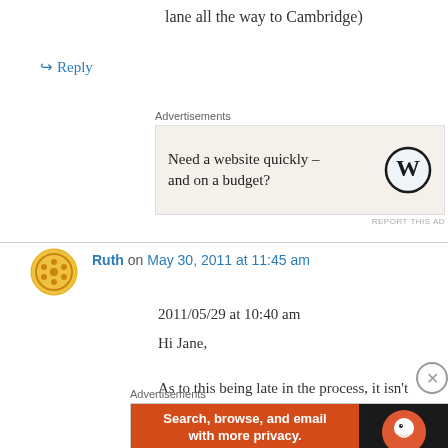lane all the way to Cambridge)
↪ Reply
[Figure (other): Advertisement box: 'Need a website quickly – and on a budget?' with WordPress logo]
Ruth on May 30, 2011 at 11:45 am
2011/05/29 at 10:40 am
Hi Jane,

As to this being late in the process, it isn't really.
The preferred option was just announced a few
[Figure (other): Advertisement: DuckDuckGo - Search, browse, and email with more privacy. All in One Free App]